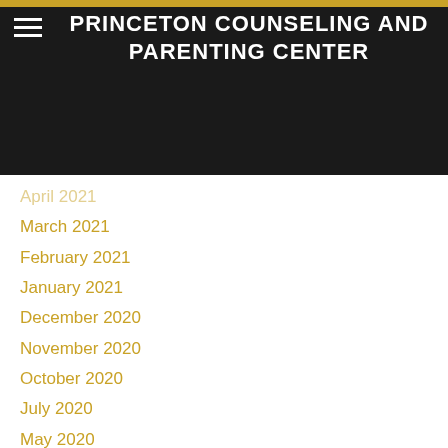PRINCETON COUNSELING AND PARENTING CENTER
April 2021
March 2021
February 2021
January 2021
December 2020
November 2020
October 2020
July 2020
May 2020
March 2020
February 2020
January 2020
December 2019
November 2019
October 2019
September 2019